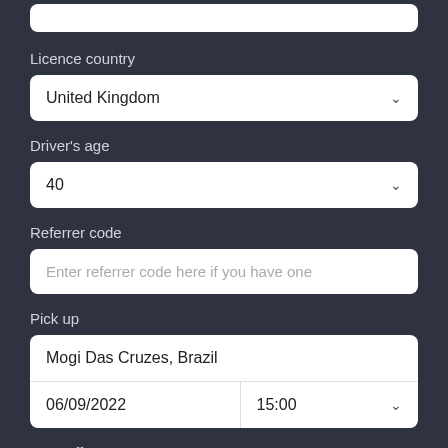(partial top input — truncated)
Licence country
United Kingdom
Driver's age
40
Referrer code
Enter referrer code here if you have one
Pick up
Mogi Das Cruzes, Brazil
06/09/2022
15:00
Drop off